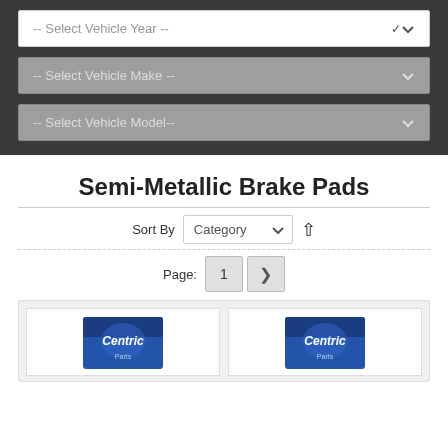[Figure (screenshot): Vehicle year/make/model dropdown selectors on dark gray background. First dropdown (white background): '-- Select Vehicle Year --'. Second dropdown (gray, disabled): '-- Select Vehicle Make --'. Third dropdown (gray, disabled): '-- Select Vehicle Model--'.]
Semi-Metallic Brake Pads
Sort By  Category  ↑
Page: 1 >
[Figure (photo): Two product cards showing Centric brake pad boxes (blue/dark packaging) partially visible at bottom of page.]